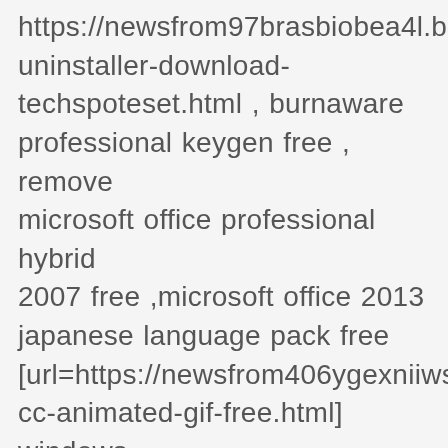https://newsfrom97brasbiobea4l.blogspot.com/uninstaller-download-techspoteset.html , burnaware professional keygen free , remove microsoft office professional hybrid 2007 free ,microsoft office 2013 japanese language pack free [url=https://newsfrom406ygexniiws.blogspot.com/cc-animated-gif-free.html] windows 10 pro key buy cheap free [/url] , buy windows 10 pro activation code free , pinnacle studio 16 ultimate freefree